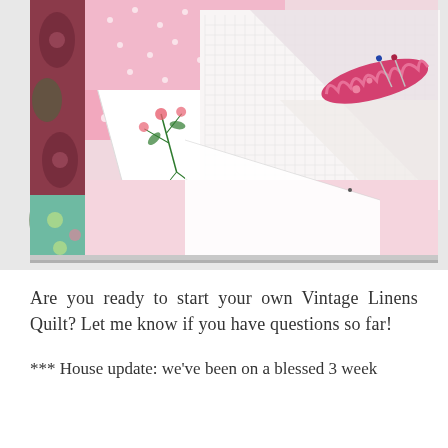[Figure (photo): A photograph of a patchwork quilt in progress featuring pink polka dot fabric, dark paisley fabric in maroon and teal, a white embroidered panel with floral motifs, white mesh/netting fabric, and a pink decorative pin cushion or rolled fabric with pins on a light pink background.]
Are you ready to start your own Vintage Linens Quilt? Let me know if you have questions so far!
*** House update: we've been on a blessed 3 week